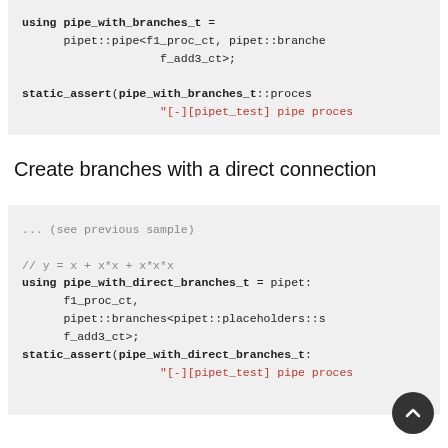using pipe_with_branches_t =
      pipet::pipe<f1_proc_ct, pipet::branches
                      f_add3_ct>;

static_assert(pipe_with_branches_t::process
                      "[-][pipet_test] pipe process
Create branches with a direct connection
... (see previous sample)

// y = x + x*x + x*x*x
using pipe_with_direct_branches_t = pipet:
      f1_proc_ct,
      pipet::branches<pipet::placeholders::s
      f_add3_ct>;
static_assert(pipe_with_direct_branches_t:
                      "[-][pipet_test] pipe process